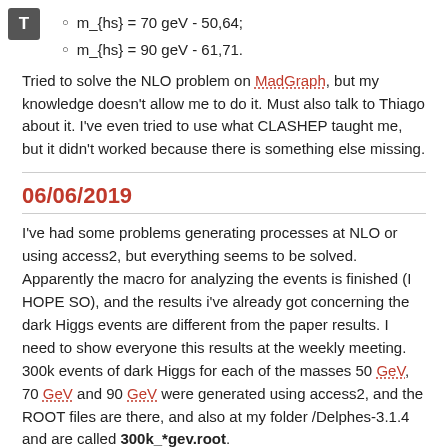m_{hs} = 70 geV - 50,64;
m_{hs} = 90 geV - 61,71.
Tried to solve the NLO problem on MadGraph, but my knowledge doesn't allow me to do it. Must also talk to Thiago about it. I've even tried to use what CLASHEP taught me, but it didn't worked because there is something else missing.
06/06/2019
I've had some problems generating processes at NLO or using access2, but everything seems to be solved. Apparently the macro for analyzing the events is finished (I HOPE SO), and the results i've already got concerning the dark Higgs events are different from the paper results. I need to show everyone this results at the weekly meeting. 300k events of dark Higgs for each of the masses 50 GeV, 70 GeV and 90 GeV were generated using access2, and the ROOT files are there, and also at my folder /Delphes-3.1.4 and are called 300k_*gev.root.
The NLO processes are difficult to generate, and I'm trying to